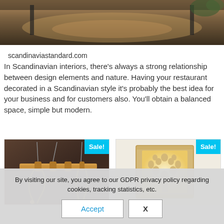[Figure (photo): Top portion of a Scandinavian restaurant interior with wooden furniture and dark background, partially cropped]
scandinaviastandard.com
In Scandinavian interiors, there's always a strong relationship between design elements and nature. Having your restaurant decorated in a Scandinavian style it's probably the best idea for your business and for customers also. You'll obtain a balanced space, simple but modern.
[Figure (photo): Rope and bamboo hanging pendant light on dark background with Sale! badge]
[Figure (photo): Wooden illuminated box with tree of life cutout design on light background with Sale! badge]
By visiting our site, you agree to our GDPR privacy policy regarding cookies, tracking statistics, etc.